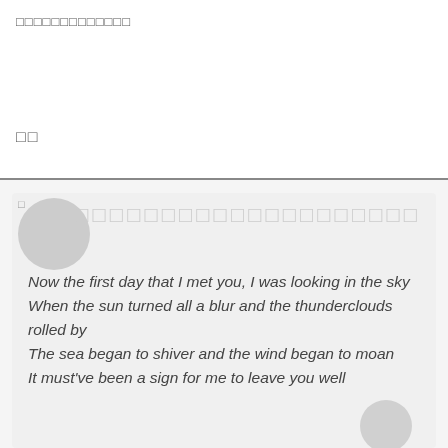□□□□□□□□□□□□□
□□
Now the first day that I met you, I was looking in the sky
When the sun turned all a blur and the thunderclouds rolled by
The sea began to shiver and the wind began to moan
It must've been a sign for me to leave you well